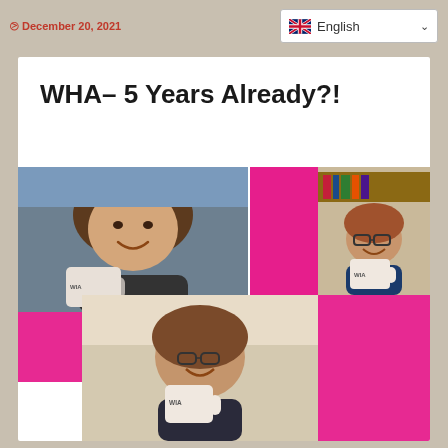December 20, 2021
English
WHA– 5 Years Already?!
[Figure (photo): Photo collage of three women each holding a pink WIA branded mug/tumbler. Top left: woman with brown hair holding a silver WIA tumbler. Top right: woman with glasses holding a pink WIA mug in front of a bookshelf. Bottom center: woman with glasses and brown hair holding a pink WIA mug. Background has pink and yellow colored blocks separating the photos.]